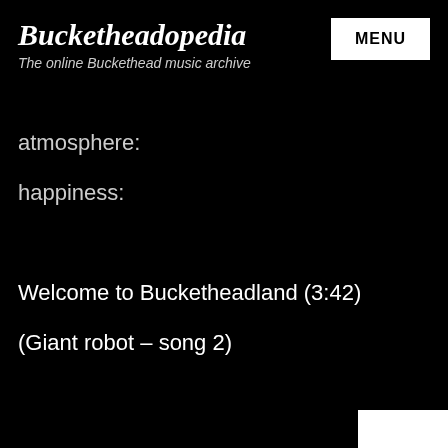Bucketheadopedia
The online Buckethead music archive
atmosphere:
happiness:
Welcome to Bucketheadland (3:42)
(Giant robot – song 2)